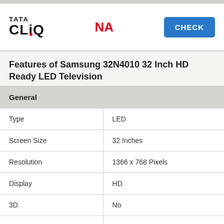[Figure (logo): Tata CLiQ logo with red dot on the letter i]
NA
CHECK
Features of Samsung 32N4010 32 Inch HD Ready LED Television
| General |  |
| --- | --- |
| Type | LED |
| Screen Size | 32 Inches |
| Resolution | 1366 x 768 Pixels |
| Display | HD |
| 3D | No |
| Smart TV | No |